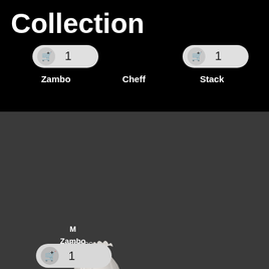Collection
[Figure (screenshot): Shopping cart button with quantity 1, left side]
[Figure (screenshot): Shopping cart button with quantity 1, right side]
Zambo
Cheff
Stack
[Figure (photo): 3D rendered white sculptural twisted vase or lamp shade object on dark grey background]
M
Zambo
$50.00
[Figure (screenshot): Shopping cart button with quantity 1, bottom of page]